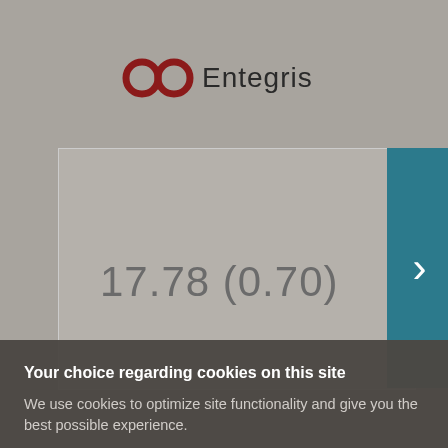[Figure (logo): Entegris company logo with infinity-like red symbol and dark text]
17.78 (0.70)
Your choice regarding cookies on this site
We use cookies to optimize site functionality and give you the best possible experience.
I ACCEPT COOKIES
SETTINGS